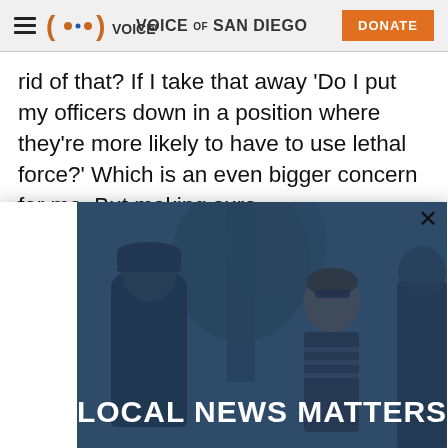Voice of San Diego — DONATE
rid of that? If I take that away 'Do I put my officers down in a position where they're more likely to have to use lethal force?' Which is an even bigger concern for me. But making sure
[Figure (photo): Modal overlay showing two people talking outdoors near a tree, with a dark blue tint overlay. Text reads LOCAL NEWS MATTERS in large white bold letters at the bottom. A close (×) button appears in the top right corner of the modal.]